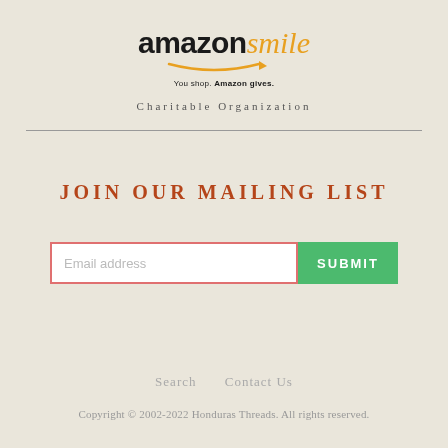[Figure (logo): Amazon Smile logo with text 'amazon smile' and tagline 'You shop. Amazon gives.']
Charitable Organization
JOIN OUR MAILING LIST
Email address
SUBMIT
Search   Contact Us
Copyright © 2002-2022 Honduras Threads. All rights reserved.